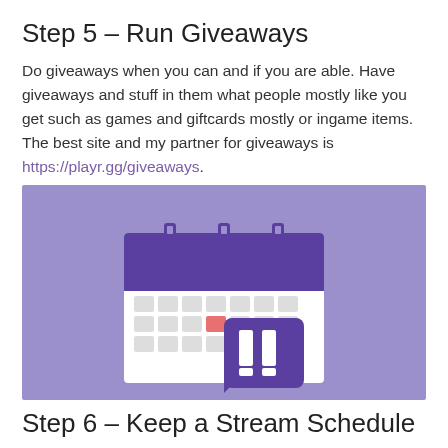Step 5 – Run Giveaways
Do giveaways when you can and if you are able. Have giveaways and stuff in them what people mostly like you get such as games and giftcards mostly or ingame items. The best site and my partner for giveaways is https://playr.gg/giveaways.
[Figure (illustration): A calendar icon with a purple header and Twitch logo overlaid, on a purple background. The calendar shows a grid of days with one day highlighted in red/salmon color.]
Step 6 – Keep a Stream Schedule